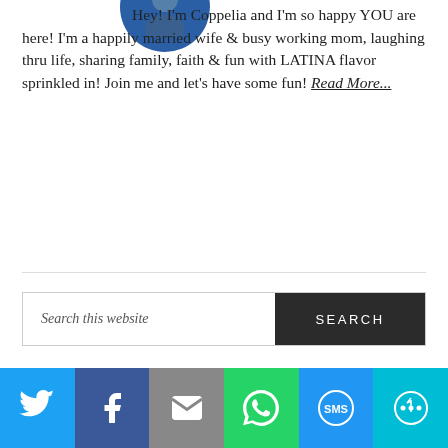[Figure (photo): Partial circular profile photo of a person, cropped at top of page]
Hey! I'm Coppelia and I'm so happy YOU are here! I'm a happily married wife & busy working mom, laughing thru life, sharing family, faith & fun with LATINA flavor sprinkled in! Join me and let's have some fun! Read More...
[Figure (other): Broken image placeholder inside a bordered box]
[Figure (other): Social sharing bar with Twitter, Facebook, Email, WhatsApp, SMS, and More buttons]